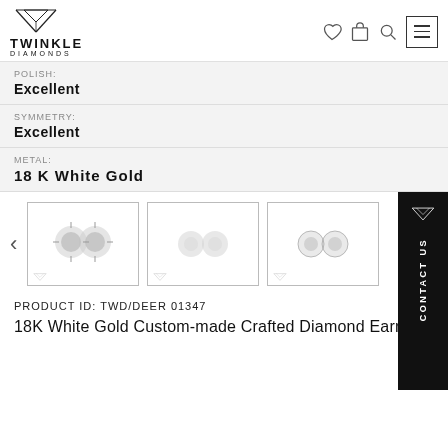Twinkle Diamonds — navigation header with logo and icons
POLISH: Excellent
SYMMETRY: Excellent
METAL: 18 K White Gold
[Figure (photo): Three thumbnail images of diamond earrings on white background with Twinkle Diamonds logo watermark]
PRODUCT ID: TWD/DEER 01347
18K White Gold Custom-made Crafted Diamond Earring